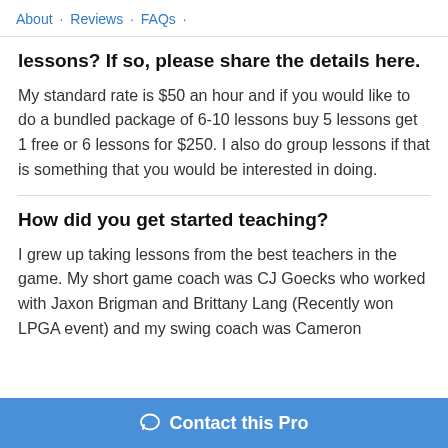About · Reviews · FAQs ·
lessons? If so, please share the details here.
My standard rate is $50 an hour and if you would like to do a bundled package of 6-10 lessons buy 5 lessons get 1 free or 6 lessons for $250. I also do group lessons if that is something that you would be interested in doing.
How did you get started teaching?
I grew up taking lessons from the best teachers in the game. My short game coach was CJ Goecks who worked with Jaxon Brigman and Brittany Lang (Recently won LPGA event) and my swing coach was Cameron
Contact this Pro